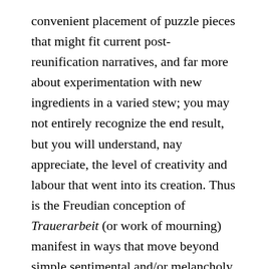convenient placement of puzzle pieces that might fit current post-reunification narratives, and far more about experimentation with new ingredients in a varied stew; you may not entirely recognize the end result, but you will understand, nay appreciate, the level of creativity and labour that went into its creation. Thus is the Freudian conception of Trauerarbeit (or work of mourning) manifest in ways that move beyond simple sentimental and/or melancholy definitions, and into a more varied, thought-provoking, and nuanced take on German cultural history and its contemporary echoes, or a distinct lack thereof. How often do we hear the works of Dessau, Bredemeyer, Biermann, Dessau, Katzer, after all? With incredible attention to detail, a scholarly approach to analyses, and a clear love of the composers